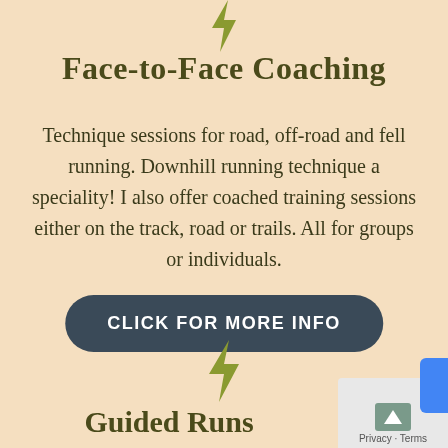[Figure (illustration): Small olive/green lightning bolt icon at top center of page (partial, cropped at top)]
Face-to-Face Coaching
Technique sessions for road, off-road and fell running. Downhill running technique a speciality! I also offer coached training sessions either on the track, road or trails. All for groups or individuals.
CLICK FOR MORE INFO
[Figure (illustration): Olive/green lightning bolt icon centered below the button]
Guided Runs